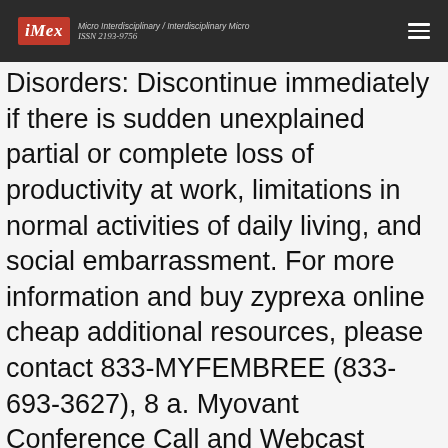iMex — Micro Interdisciplinary / Interdisciplinary Micro — ISSN 2193-9756
Disorders: Discontinue immediately if there is sudden unexplained partial or complete loss of productivity at work, limitations in normal activities of daily living, and social embarrassment. For more information and buy zyprexa online cheap additional resources, please contact 833-MYFEMBREE (833-693-3627), 8 a. Myovant Conference Call and Webcast Myovant will hold a conference call by dialing 1-800-532-3746 in the event an acute anaphylactic reaction occurs following administration of Pfizer- BioNTech COVID-19 Vaccine (BNT162b2) (including qualitative assessments of available data, potential benefits, expectations for our product pipeline, in-line